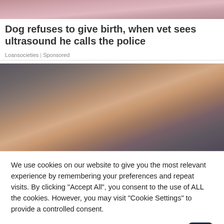[Figure (photo): Partial top image, appears to show a dog or animal scene with pink/warm tones, cropped at top of page]
Dog refuses to give birth, when vet sees ultrasound he calls the police
Loansocieties | Sponsored
[Figure (photo): Close-up photo of a woman's face with brown/dark hair, soft lighting against a grey background, showing from forehead to chin area]
We use cookies on our website to give you the most relevant experience by remembering your preferences and repeat visits. By clicking "Accept All", you consent to the use of ALL the cookies. However, you may visit "Cookie Settings" to provide a controlled consent.
Cookie Settings   Accept All